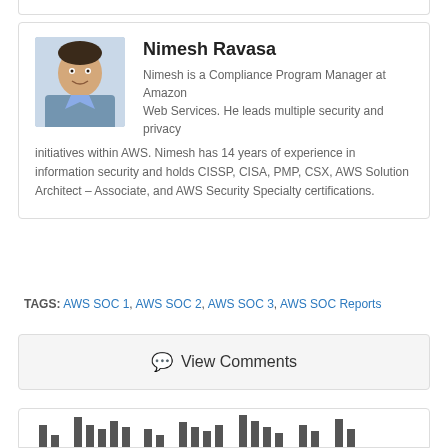[Figure (photo): Headshot photo of Nimesh Ravasa, a man in a light blue shirt]
Nimesh Ravasa
Nimesh is a Compliance Program Manager at Amazon Web Services. He leads multiple security and privacy initiatives within AWS. Nimesh has 14 years of experience in information security and holds CISSP, CISA, PMP, CSX, AWS Solution Architect – Associate, and AWS Security Specialty certifications.
TAGS: AWS SOC 1, AWS SOC 2, AWS SOC 3, AWS SOC Reports
View Comments
[Figure (bar-chart): Partial bar chart visible at the bottom of the page, showing multiple vertical bars of varying heights]